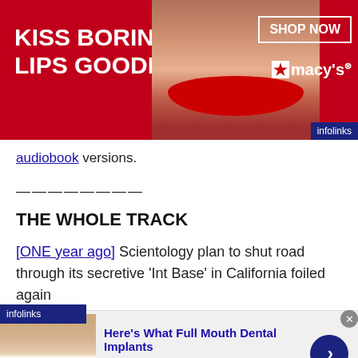[Figure (advertisement): Macy's lipstick advertisement with red background, woman's face with red lips, text 'KISS BORING LIPS GOODBYE', 'SHOP NOW' button, and Macy's star logo]
audiobook versions.
————————
THE WHOLE TRACK
[ONE year ago] Scientology plan to shut road through its secretive ‘Int Base’ in California foiled again
[TWO years ago] It's Election Day, but screw that
[Figure (advertisement): Bottom ad: Here's What Full Mouth Dental Implants, n/a, pr.implantdentalservicesus.com, with teeth image and blue arrow button]